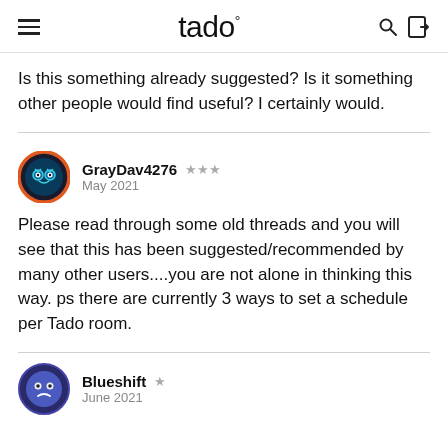tado°
Is this something already suggested? Is it something other people would find useful? I certainly would.
GrayDav4276 ★★★ May 2021
Please read through some old threads and you will see that this has been suggested/recommended by many other users....you are not alone in thinking this way. ps there are currently 3 ways to set a schedule per Tado room.
Blueshift ★ June 2021